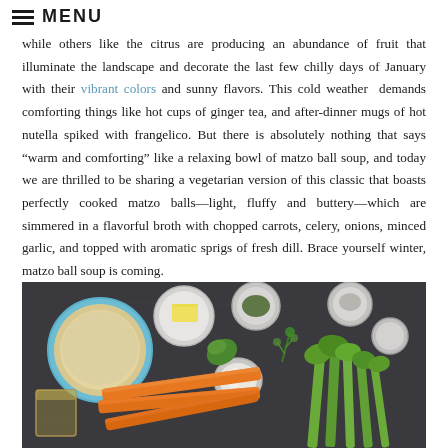MENU
while others like the citrus are producing an abundance of fruit that illuminate the landscape and decorate the last few chilly days of January with their vibrant colors and sunny flavors. This cold weather demands comforting things like hot cups of ginger tea, and after-dinner mugs of hot nutella spiked with frangelico. But there is absolutely nothing that says “warm and comforting” like a relaxing bowl of matzo ball soup, and today we are thrilled to be sharing a vegetarian version of this classic that boasts perfectly cooked matzo balls—light, fluffy and buttery—which are simmered in a flavorful broth with chopped carrots, celery, onions, minced garlic, and topped with aromatic sprigs of fresh dill. Brace yourself winter, matzo ball soup is coming.
[Figure (photo): Overhead flat-lay photo of soup ingredients on a dark gray surface: a large blue bowl of matzo meal, a small round bowl of butter, a small bowl of green dried herbs/spice, a small bowl (possibly salt or spice), a bowl of garlic, a glass of oil, orange carrots, fresh green dill, and celery stalks with leaves.]